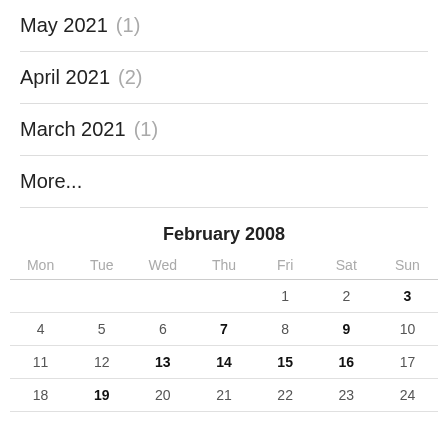May 2021 (1)
April 2021 (2)
March 2021 (1)
More...
| Mon | Tue | Wed | Thu | Fri | Sat | Sun |
| --- | --- | --- | --- | --- | --- | --- |
|  |  |  |  | 1 | 2 | 3 |
| 4 | 5 | 6 | 7 | 8 | 9 | 10 |
| 11 | 12 | 13 | 14 | 15 | 16 | 17 |
| 18 | 19 | 20 | 21 | 22 | 23 | 24 |